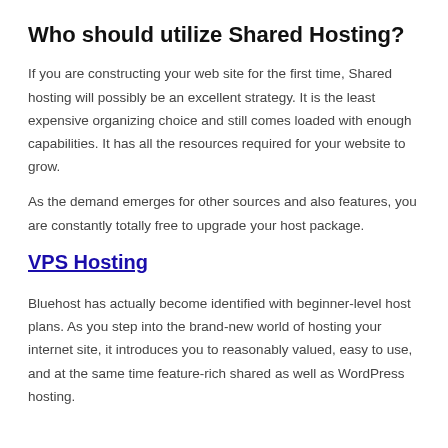Who should utilize Shared Hosting?
If you are constructing your web site for the first time, Shared hosting will possibly be an excellent strategy. It is the least expensive organizing choice and still comes loaded with enough capabilities. It has all the resources required for your website to grow.
As the demand emerges for other sources and also features, you are constantly totally free to upgrade your host package.
VPS Hosting
Bluehost has actually become identified with beginner-level host plans. As you step into the brand-new world of hosting your internet site, it introduces you to reasonably valued, easy to use, and at the same time feature-rich shared as well as WordPress hosting.